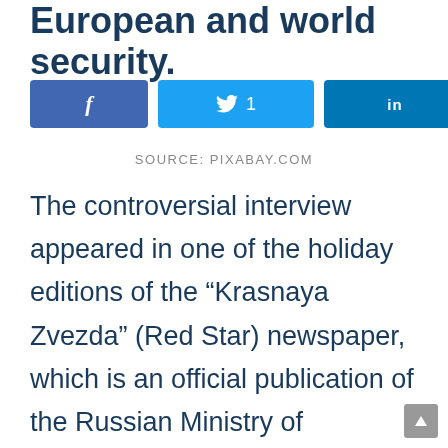European and world security.
[Figure (other): Social sharing buttons: Facebook, Twitter (1 share), LinkedIn]
SOURCE: PIXABAY.COM
The controversial interview appeared in one of the holiday editions of the “Krasnaya Zvezda” (Red Star) newspaper, which is an official publication of the Russian Ministry of Defense. There, the representatives of the General Staff of the Russian Army – Major Andrei